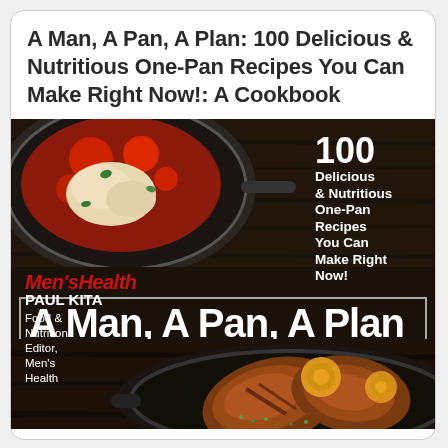A Man, A Pan, A Plan: 100 Delicious & Nutritious One-Pan Recipes You Can Make Right Now!: A Cookbook
[Figure (photo): Book cover for 'A Man, A Pan, A Plan' by Paul Kita (Men's Health). Top half shows a cast iron pan with a cheesy tomato dish. The cover has white text saying '100 Delicious & Nutritious One-Pan Recipes You Can Make Right Now!' in the upper right. The Men's Health logo appears in red italic. Large bold white text reads 'A Man, A Pan, A Plan' in a bordered box. Bottom half shows a cast iron skillet with seared pork chops and pineapple rings. Author credit: Paul Kita, Food & Nutrition Editor, Men's Health.]